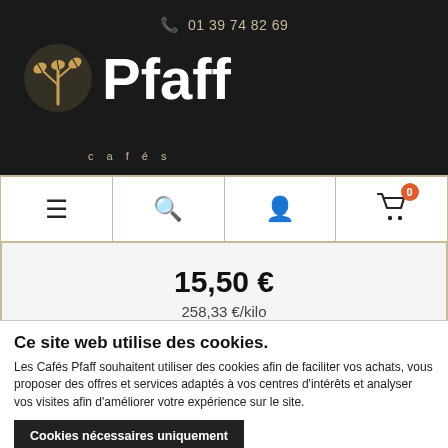01 39 74 82 69 — Cafés Pfaff logo and header
[Figure (screenshot): Navigation bar with hamburger menu, search icon, account icon, and shopping cart with 0 badge]
15,50 € 258,33 €/kilo
Ajouter au panier
Ce site web utilise des cookies.
Les Cafés Pfaff souhaitent utiliser des cookies afin de faciliter vos achats, vous proposer des offres et services adaptés à vos centres d'intérêts et analyser vos visites afin d'améliorer votre expérience sur le site.
Cookies nécessaires uniquement
Autoriser tous les cookies
Afficher les détails